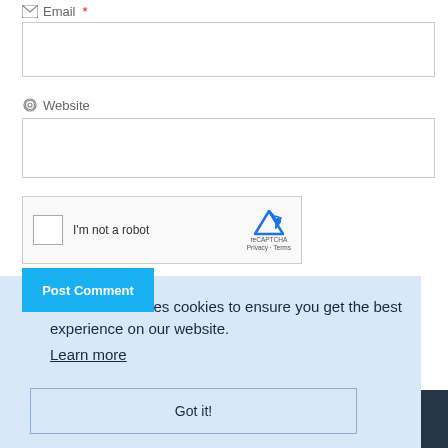Email *
[Figure (screenshot): Empty email input text field]
Website
[Figure (screenshot): Empty website input text field]
[Figure (screenshot): reCAPTCHA widget with checkbox and 'I'm not a robot' text]
[Figure (screenshot): Post Comment button (blue)]
This website uses cookies to ensure you get the best experience on our website. Learn more
[Figure (screenshot): Got it! button]
FOREX24.PRO